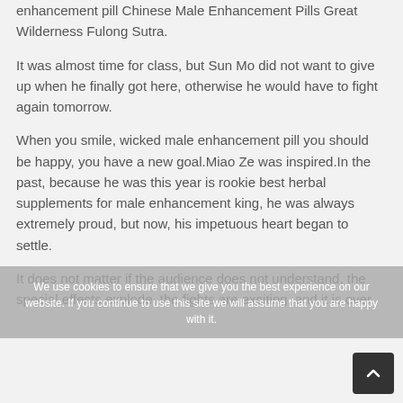enhancement pill Chinese Male Enhancement Pills Great Wilderness Fulong Sutra.
It was almost time for class, but Sun Mo did not want to give up when he finally got here, otherwise he would have to fight again tomorrow.
When you smile, wicked male enhancement pill you should be happy, you have a new goal.Miao Ze was inspired.In the past, because he was this year is rookie best herbal supplements for male enhancement king, he was always extremely proud, but now, his impetuous heart began to settle.
It does not matter if the audience does not understand, the special effects explode, the fights are exciting, and it is over.
We use cookies to ensure that we give you the best experience on our website. If you continue to use this site we will assume that you are happy with it.